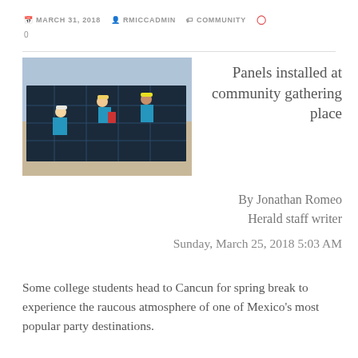MARCH 31, 2018  RMICCADMIN  COMMUNITY  0
[Figure (photo): Workers in blue shirts and hard hats installing solar panels on a rooftop]
Panels installed at community gathering place
By Jonathan Romeo
Herald staff writer
Sunday, March 25, 2018 5:03 AM
Some college students head to Cancun for spring break to experience the raucous atmosphere of one of Mexico's most popular party destinations.